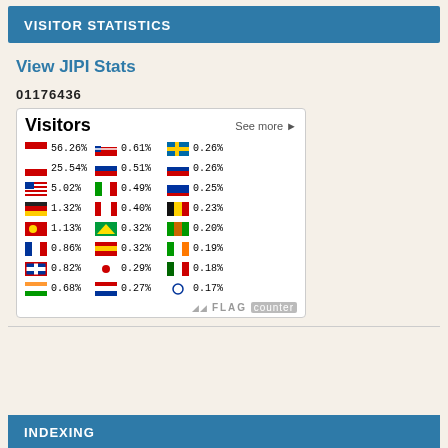VISITOR STATISTICS
View JIPI Stats
01176436
[Figure (infographic): Flag counter widget showing visitor statistics by country. Visitors header with 'See more' link. Countries listed: Indonesia 56.26%, Poland 25.54%, USA 5.02%, Germany 1.32%, China 1.13%, France 0.86%, UK 0.82%, India 0.68%, Norway 0.61%, Russia 0.51%, Italy 0.49%, Canada 0.40%, Brazil 0.32%, Spain 0.32%, Japan 0.29%, Netherlands 0.27%, Sweden 0.26%, Singapore 0.26%, Malaysia 0.25%, Belgium 0.23%, Portugal 0.20%, Ireland 0.19%, Mexico 0.18%, South Korea 0.17%. FLAG counter branding at bottom.]
INDEXING